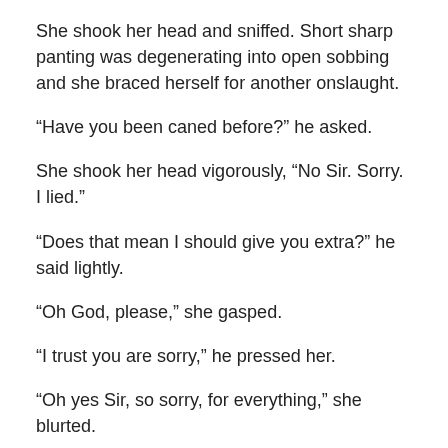She shook her head and sniffed. Short sharp panting was degenerating into open sobbing and she braced herself for another onslaught.
“Have you been caned before?” he asked.
She shook her head vigorously, “No Sir. Sorry. I lied.”
“Does that mean I should give you extra?” he said lightly.
“Oh God, please,” she gasped.
“I trust you are sorry,” he pressed her.
“Oh yes Sir, so sorry, for everything,” she blurted.
“Three more,” he snapped and caned in hard right across where she sat.
Kimberly bawled out a response and rocked the chair